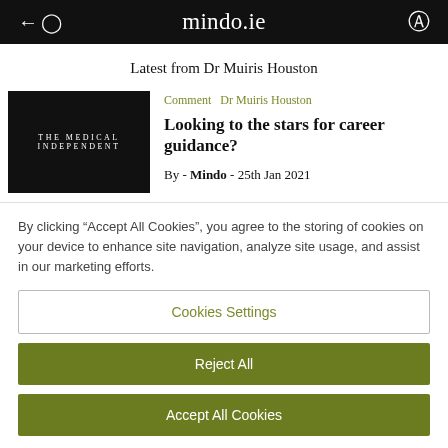mindo.ie
Latest from Dr Muiris Houston
[Figure (logo): THE MEDICAL INDEPENDENT logo on black background]
Comment  Dr Muiris Houston
Looking to the stars for career guidance?
By - Mindo - 25th Jan 2021
By clicking "Accept All Cookies", you agree to the storing of cookies on your device to enhance site navigation, analyze site usage, and assist in our marketing efforts.
Cookies Settings
Reject All
Accept All Cookies